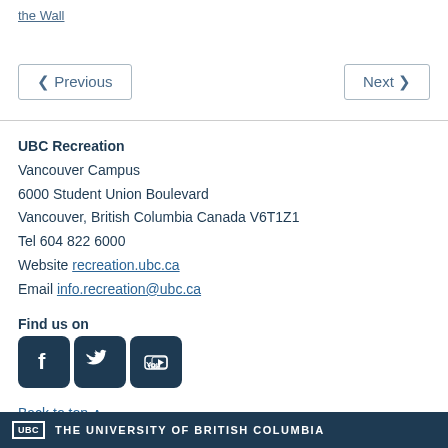the Wall
< Previous   Next >
UBC Recreation
Vancouver Campus
6000 Student Union Boulevard
Vancouver, British Columbia Canada V6T1Z1
Tel 604 822 6000
Website recreation.ubc.ca
Email info.recreation@ubc.ca
Find us on
[Figure (logo): Facebook, Twitter, and YouTube social media icons in dark navy square buttons]
Back to top ^
UBC THE UNIVERSITY OF BRITISH COLUMBIA